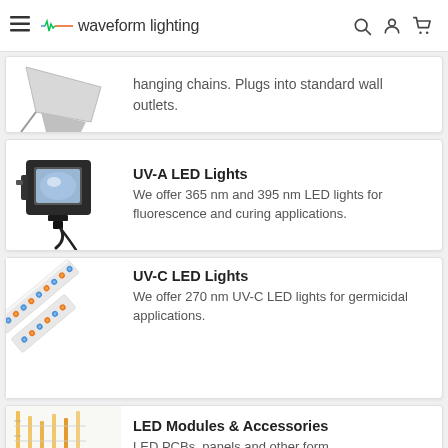waveform lighting
hanging chains. Plugs into standard wall outlets.
UV-A LED Lights
We offer 365 nm and 395 nm LED lights for fluorescence and curing applications.
UV-C LED Lights
We offer 270 nm UV-C LED lights for germicidal applications.
LED Modules & Accessories
LED PCBs, panels and other form